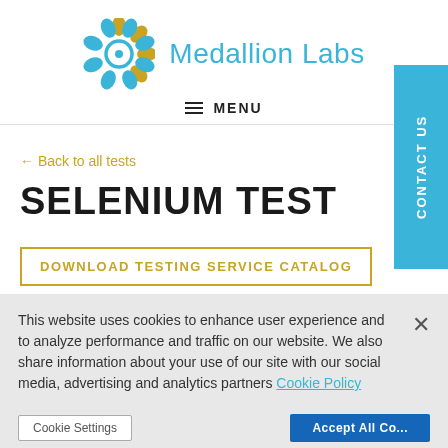Medallion Labs
≡ MENU
← Back to all tests
SELENIUM TEST
DOWNLOAD TESTING SERVICE CATALOG
CONTACT US
This website uses cookies to enhance user experience and to analyze performance and traffic on our website. We also share information about your use of our site with our social media, advertising and analytics partners Cookie Policy
×